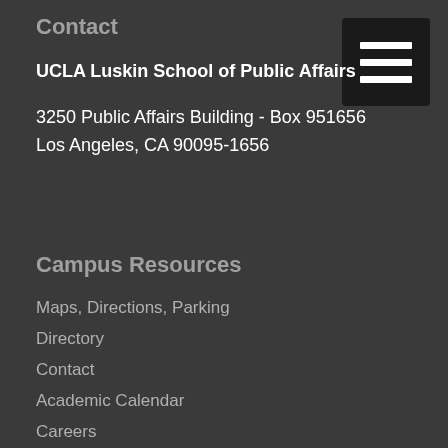Contact
UCLA Luskin School of Public Affairs
3250 Public Affairs Building - Box 951656
Los Angeles, CA 90095-1656
[Figure (other): Hamburger menu button icon — three horizontal white bars on a black square background]
Campus Resources
Maps, Directions, Parking
Directory
Contact
Academic Calendar
Careers
Diversity
University of California
Terms of Use